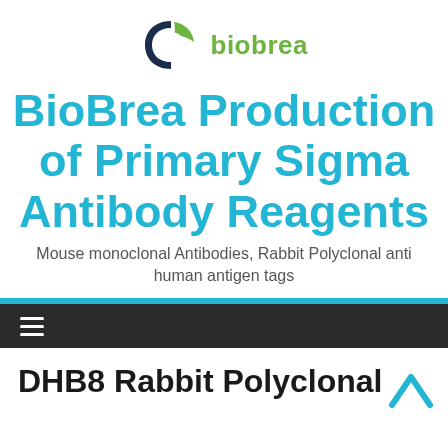[Figure (logo): BioBrea company logo: a stylized leaf/B mark in green and dark navy, with the text 'biobrea' in green to the right]
BioBrea Production of Primary Sigma Antibody Reagents
Mouse monoclonal Antibodies, Rabbit Polyclonal anti human antigen tags
DHB8 Rabbit Polyclonal